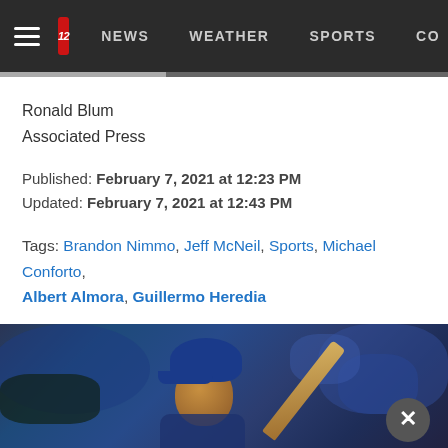NEWS  WEATHER  SPORTS  CO
Ronald Blum
Associated Press
Published: February 7, 2021 at 12:23 PM
Updated: February 7, 2021 at 12:43 PM
Tags: Brandon Nimmo, Jeff McNeil, Sports, Michael Conforto, Albert Almora, Guillermo Heredia
[Figure (photo): Baseball player in blue helmet watching a bat swing, crowd in background wearing blue.]